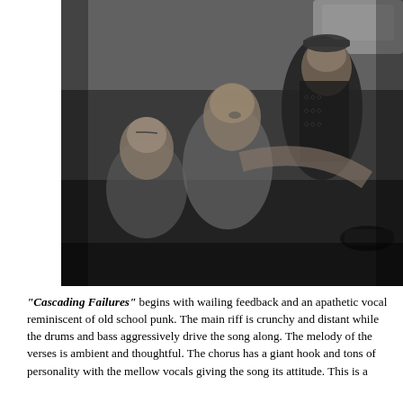[Figure (photo): Black and white photograph of three young men sitting/lounging on the ground, possibly near a car. One has eyes closed, one is leaning forward, and one is wearing a black jacket with a cap looking upward.]
“Cascading Failures” begins with wailing feedback and an apathetic vocal reminiscent of old school punk. The main riff is crunchy and distant while the drums and bass aggressively drive the song along. The melody of the verses is ambient and thoughtful. The chorus has a giant hook and tons of personality with the mellow vocals giving the song its attitude. This is a